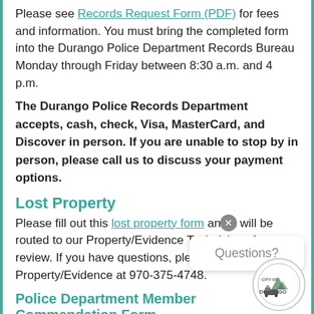Please see Records Request Form (PDF) for fees and information. You must bring the completed form into the Durango Police Department Records Bureau Monday through Friday between 8:30 a.m. and 4 p.m.
The Durango Police Records Department accepts, cash, check, Visa, MasterCard, and Discover in person. If you are unable to stop by in person, please call us to discuss your payment options.
Lost Property
Please fill out this lost property form and it will be routed to our Property/Evidence Technicians for review. If you have questions, please call Property/Evidence at 970-375-4748.
Police Department Member Commendation Form
Please fill out this form for any member of the Durango Police Department, Sworn or Civilian, for a job well